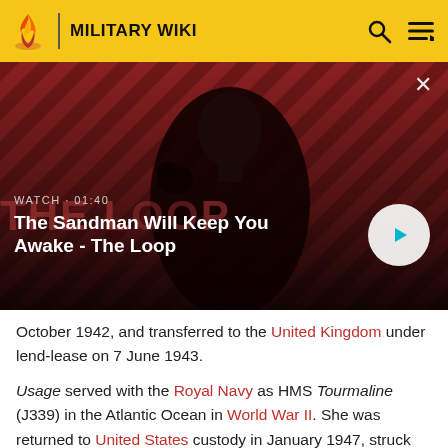MILITARY WIKI
[Figure (screenshot): Video banner showing a dark figure with a raven on their shoulder against a red diagonal striped background. Text overlay reads 'WATCH · 01:40' and 'The Sandman Will Keep You Awake - The Loop' with a play button on the right.]
October 1942, and transferred to the United Kingdom under lend-lease on 7 June 1943.
Usage served with the Royal Navy as HMS Tourmaline (J339) in the Atlantic Ocean in World War II. She was returned to United States custody in January 1947, struck